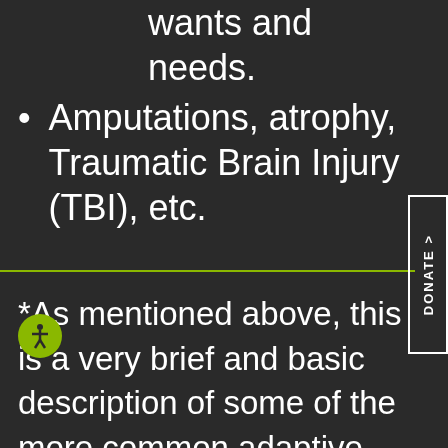wants and needs.
Amputations, atrophy, Traumatic Brain Injury (TBI), etc.
*As mentioned above, this is a very brief and basic description of some of the more common adaptive techniques and equipment used. If there is anything in particular you are looking for, or have any questions about equipment